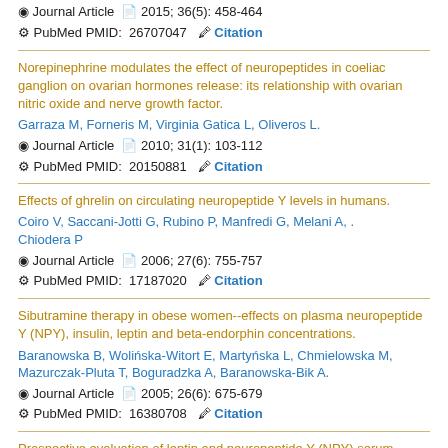Journal Article  2015; 36(5): 458-464
PubMed PMID: 26707047  Citation
Norepinephrine modulates the effect of neuropeptides in coeliac ganglion on ovarian hormones release: its relationship with ovarian nitric oxide and nerve growth factor.
Garraza M, Forneris M, Virginia Gatica L, Oliveros L.
Journal Article  2010; 31(1): 103-112
PubMed PMID: 20150881  Citation
Effects of ghrelin on circulating neuropeptide Y levels in humans.
Coiro V, Saccani-Jotti G, Rubino P, Manfredi G, Melani A, . Chiodera P
Journal Article  2006; 27(6): 755-757
PubMed PMID: 17187020  Citation
Sibutramine therapy in obese women--effects on plasma neuropeptide Y (NPY), insulin, leptin and beta-endorphin concentrations.
Baranowska B, Wolińska-Witort E, Martyńska L, Chmielowska M, Mazurczak-Pluta T, Boguradzka A, Baranowska-Bik A.
Journal Article  2005; 26(6): 675-679
PubMed PMID: 16380708  Citation
Prospective evaluation of leptin and neuropeptide Y (NPY) serum levels in girls with anorexia nervosa.